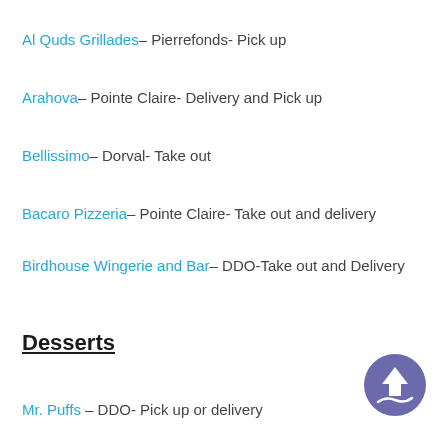Al Quds Grillades– Pierrefonds- Pick up
Arahova– Pointe Claire- Delivery and Pick up
Bellissimo– Dorval- Take out
Bacaro Pizzeria– Pointe Claire- Take out and delivery
Birdhouse Wingerie and Bar– DDO-Take out and Delivery
Desserts
Mr. Puffs – DDO- Pick up or delivery
[Figure (logo): Purple circular button with upward arrow and water/waves icon]